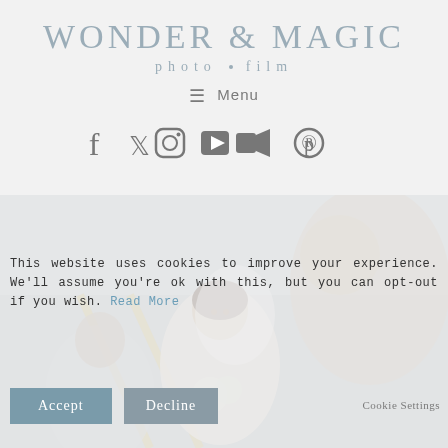WONDER & MAGiC
photo · film
≡ Menu
[Figure (other): Social media icons row: Facebook, Twitter, Instagram, YouTube, Video camera, Pinterest]
[Figure (photo): Wedding photo showing a smiling bride in a white veil with bokeh background, viewed from over another person's shoulder]
This website uses cookies to improve your experience. We'll assume you're ok with this, but you can opt-out if you wish. Read More
Accept
Decline
Cookie Settings